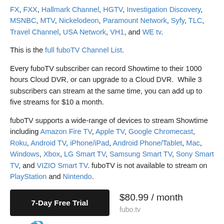FX, FXX, Hallmark Channel, HGTV, Investigation Discovery, MSNBC, MTV, Nickelodeon, Paramount Network, Syfy, TLC, Travel Channel, USA Network, VH1, and WE tv.
This is the full fuboTV Channel List.
Every fuboTV subscriber can record Showtime to their 1000 hours Cloud DVR, or can upgrade to a Cloud DVR. While 3 subscribers can stream at the same time, you can add up to five streams for $10 a month.
fuboTV supports a wide-range of devices to stream Showtime including Amazon Fire TV, Apple TV, Google Chromecast, Roku, Android TV, iPhone/iPad, Android Phone/Tablet, Mac, Windows, Xbox, LG Smart TV, Samsung Smart TV, Sony Smart TV, and VIZIO Smart TV. fuboTV is not available to stream on PlayStation and Nintendo.
[Figure (other): 7-Day Free Trial button with $80.99 / month pricing and fubo.tv label]
[Figure (logo): Sling logo in blue with signal waves icon]